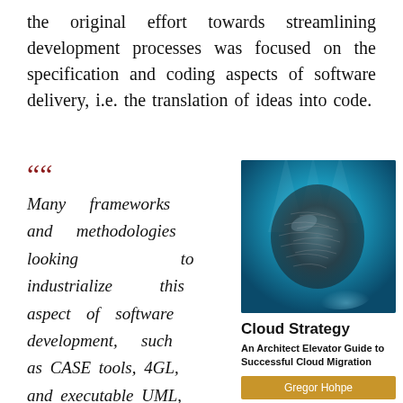the original effort towards streamlining development processes was focused on the specification and coding aspects of software delivery, i.e. the translation of ideas into code.
“ Many frameworks and methodologies looking to industrialize this aspect of software development, such as CASE tools, 4GL, and executable UML, arrived and disappeared again
[Figure (photo): Underwater photo of a large school of fish forming a dense swirling mass against a blue water background]
Cloud Strategy
An Architect Elevator Guide to Successful Cloud Migration
Gregor Hohpe